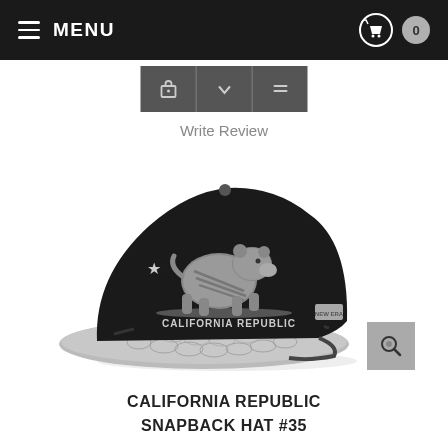MENU  |  Cart 0
[Figure (screenshot): Action buttons row: cart, down chevron, minus/list icon]
Write Review
[Figure (photo): Black California Republic snapback hat #35 with grey grizzly bear logo, star, and snakeskin-patterned brim. New Era logo on side.]
CALIFORNIA REPUBLIC SNAPBACK HAT #35